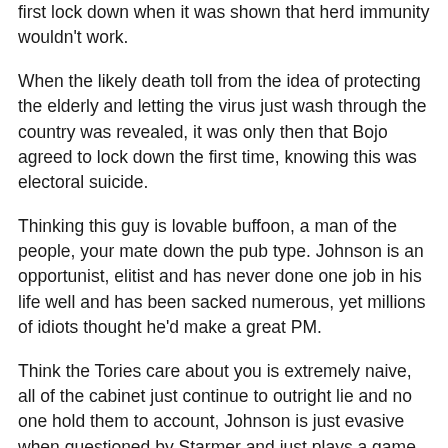first lock down when it was shown that herd immunity wouldn't work.
When the likely death toll from the idea of protecting the elderly and letting the virus just wash through the country was revealed, it was only then that Bojo agreed to lock down the first time, knowing this was electoral suicide.
Thinking this guy is lovable buffoon, a man of the people, your mate down the pub type. Johnson is an opportunist, elitist and has never done one job in his life well and has been sacked numerous, yet millions of idiots thought he'd make a great PM.
Think the Tories care about you is extremely naive, all of the cabinet just continue to outright lie and no one hold them to account, Johnson is just evasive when questioned by Starmer and just plays a game of whatabotisms with him, never answering.
So we have government not answering to any questioning of their performance, lying and not being properly grilled, having the media very rarely hold then to account and now they are